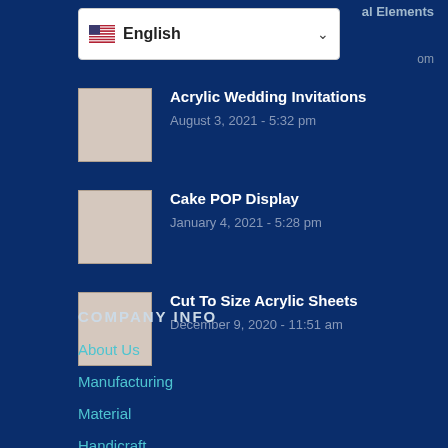al Elements
[Figure (screenshot): Language selector dropdown showing English with US flag and chevron]
om
Acrylic Wedding Invitations
August 3, 2021 - 5:32 pm
Cake POP Display
January 4, 2021 - 5:28 pm
Cut To Size Acrylic Sheets
December 9, 2020 - 11:51 am
COMPANY INFO
About Us
Manufacturing
Material
Handicraft